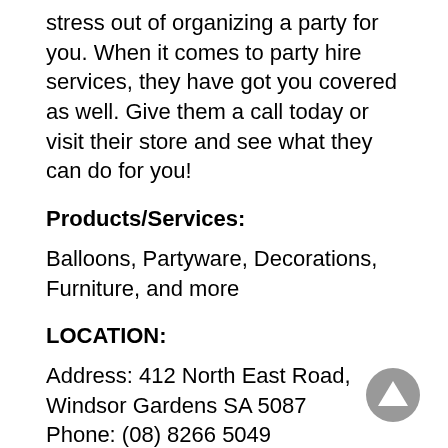stress out of organizing a party for you. When it comes to party hire services, they have got you covered as well. Give them a call today or visit their store and see what they can do for you!
Products/Services:
Balloons, Partyware, Decorations, Furniture, and more
LOCATION:
Address: 412 North East Road, Windsor Gardens SA 5087
Phone: (08) 8266 5049
[Figure (other): Grey circular scroll-to-top button with upward triangle arrow]